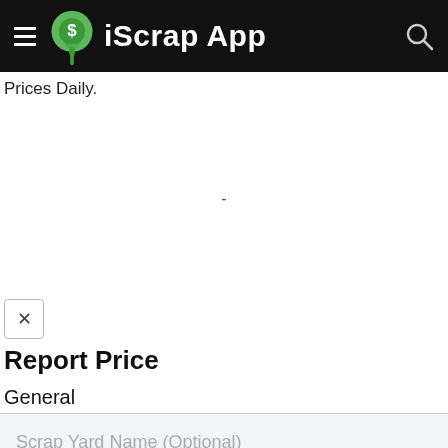iScrap App
Prices Daily.
-
[Figure (screenshot): Close/dismiss button (X) in a small rounded rectangle]
Report Price
General
Scrap Yard Name (Optional)
Town or City*